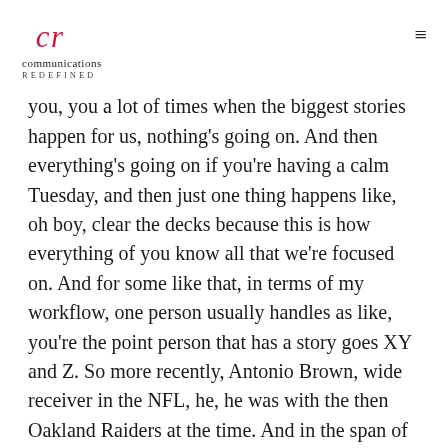communications REDEFINED
you, you a lot of times when the biggest stories happen for us, nothing's going on. And then everything's going on if you're having a calm Tuesday, and then just one thing happens like, oh boy, clear the decks because this is how everything of you know all that we're focused on. And for some like that, in terms of my workflow, one person usually handles as like, you're the point person that has a story goes XY and Z. So more recently, Antonio Brown, wide receiver in the NFL, he, he was with the then Oakland Raiders at the time. And in the span of one day, he went being on the team to getting into a verbal altercation with the GM to getting a phone call